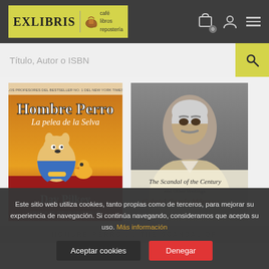[Figure (logo): Exlibris logo with coffee cup icon and text 'café libros repostería' on yellow background, set against dark grey header with cart icon (badge 0), user icon, and hamburger menu icon]
Título, Autor o ISBN
[Figure (illustration): Book cover: Hombre Perro La pelea de la Selva by Dav Pilkey, cartoon dog-man superhero with cape in jungle setting, yellow/orange background]
[Figure (photo): Book cover: The Scandal of the Century and Other Writings by Gabriel García Márquez, featuring a photo of García Márquez with beard]
Este sitio web utiliza cookies, tanto propias como de terceros, para mejorar su experiencia de navegación. Si continúa navegando, consideramos que acepta su uso. Más información
Aceptar cookies
Denegar